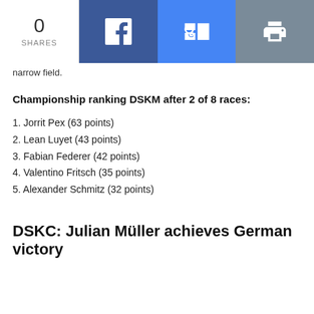0 SHARES
narrow field.
Championship ranking DSKM after 2 of 8 races:
1. Jorrit Pex (63 points)
2. Lean Luyet (43 points)
3. Fabian Federer (42 points)
4. Valentino Fritsch (35 points)
5. Alexander Schmitz (32 points)
DSKC: Julian Müller achieves German victory